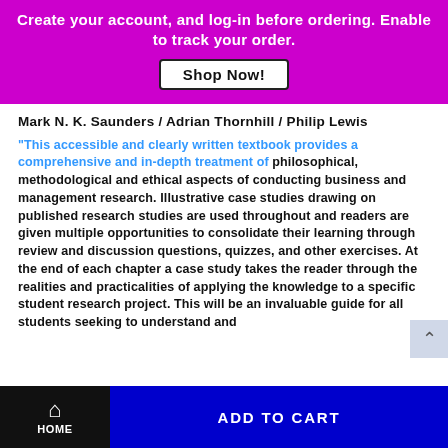Create your account, and log-in before ordering. Enable to track your order.
Mark N. K. Saunders / Adrian Thornhill / Philip Lewis
"This accessible and clearly written textbook provides a comprehensive and in-depth treatment of philosophical, methodological and ethical aspects of conducting business and management research. Illustrative case studies drawing on published research studies are used throughout and readers are given multiple opportunities to consolidate their learning through review and discussion questions, quizzes, and other exercises. At the end of each chapter a case study takes the reader through the realities and practicalities of applying the knowledge to a specific student research project. This will be an invaluable guide for all students seeking to understand and
HOME | ADD TO CART